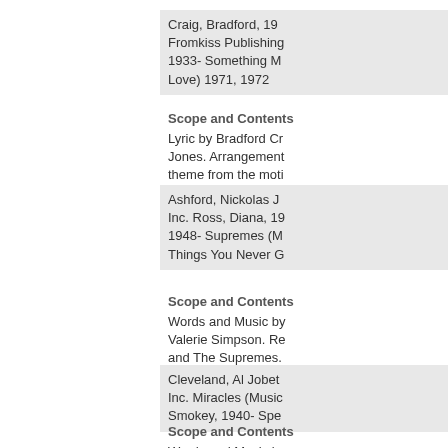Craig, Bradford, 19 Fromkiss Publishing 1933- Something M Love) 1971, 1972
Scope and Contents
Lyric by Bradford Cr Jones. Arrangement theme from the moti
Ashford, Nickolas J Inc. Ross, Diana, 19 1948- Supremes (M Things You Never G
Scope and Contents
Words and Music by Valerie Simpson. Re and The Supremes.
Cleveland, Al Jobet Inc. Miracles (Music Smokey, 1940- Spe
Scope and Contents
Words and Music by